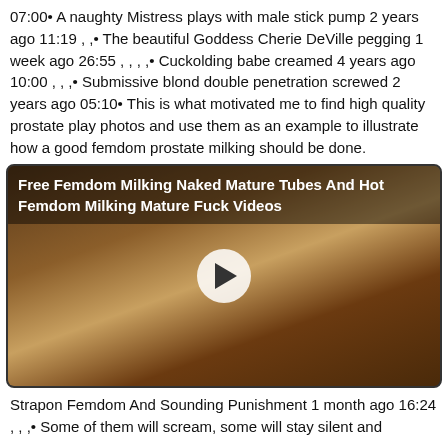07:00• A naughty Mistress plays with male stick pump 2 years ago 11:19 , ,• The beautiful Goddess Cherie DeVille pegging 1 week ago 26:55 , , , ,• Cuckolding babe creamed 4 years ago 10:00 , , ,• Submissive blond double penetration screwed 2 years ago 05:10• This is what motivated me to find high quality prostate play photos and use them as an example to illustrate how a good femdom prostate milking should be done.
[Figure (screenshot): Video thumbnail with overlay title 'Free Femdom Milking Naked Mature Tubes And Hot Femdom Milking Mature Fuck Videos' and a play button in center]
Strapon Femdom And Sounding Punishment 1 month ago 16:24 , , ,• Some of them will scream, some will stay silent and